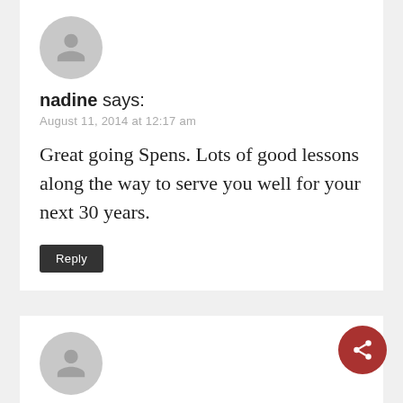[Figure (illustration): Gray circular avatar with silhouette person icon for user nadine]
nadine says:
August 11, 2014 at 12:17 am
Great going Spens. Lots of good lessons along the way to serve you well for your next 30 years.
Reply
[Figure (illustration): Gray circular avatar with silhouette person icon for user Zach]
Zach says:
August 13, 2014 at 5:37 am
Good read mate! Btw I don't think the tetanus shot will work